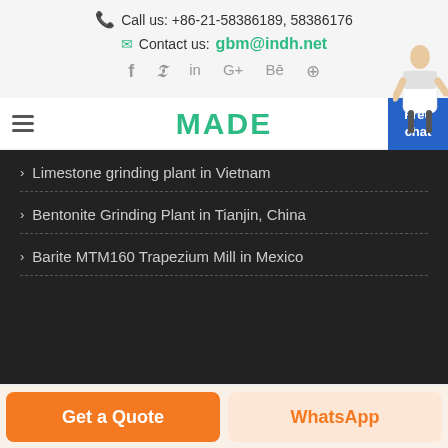Call us: +86-21-58386189, 58386176
Contact us: gbm@indh.net
[Figure (other): Social media icons: Facebook, Twitter, LinkedIn, Google+, Behance, Dribbble]
[Figure (logo): MADE logo in green bold text]
Limestone grinding plant in Vietnam
Bentonite Grinding Plant in Tianjin, China
Barite MTM160 Trapezium Mill in Mexico
Get a Quote
WhatsApp